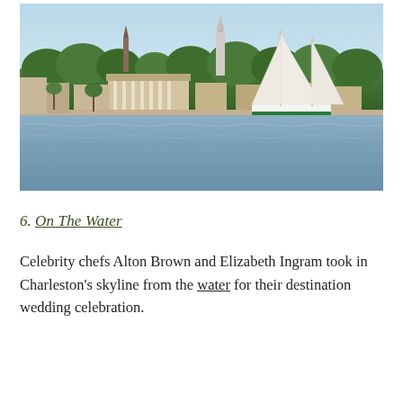[Figure (photo): View of Charleston, South Carolina skyline from the water. Foreground shows rippling blue-grey water. Background shows historic buildings, church steeples, lush green trees, and a white sailboat with green hull sailing on the river.]
6. On The Water
Celebrity chefs Alton Brown and Elizabeth Ingram took in Charleston's skyline from the water for their destination wedding celebration.